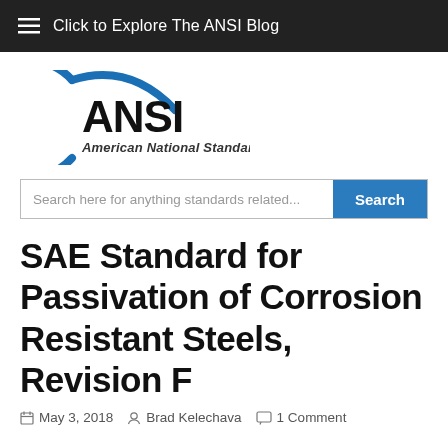Click to Explore The ANSI Blog
[Figure (logo): ANSI logo — American National Standards Institute with blue arc graphic]
Search here for anything standards related...
SAE Standard for Passivation of Corrosion Resistant Steels, Revision F
May 3, 2018   Brad Kelechava   1 Comment